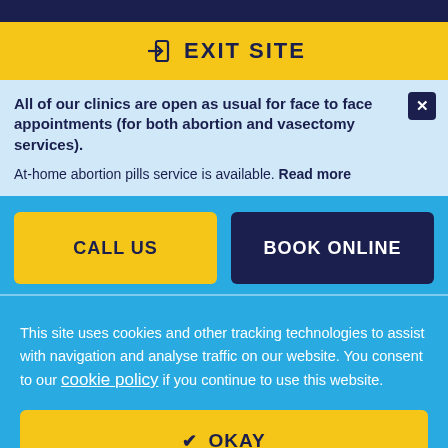EXIT SITE
All of our clinics are open as usual for face to face appointments (for both abortion and vasectomy services). At-home abortion pills service is available. Read more
CALL US
BOOK ONLINE
This site uses cookies and other tracking technologies to assist with navigation and analyse traffic on our website. You consent to our cookie policy if you continue to use this website.
OKAY